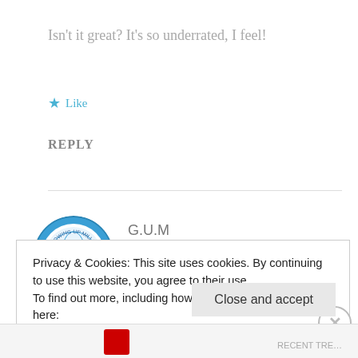Isn't it great? It's so underrated, I feel!
★ Like
REPLY
G.U.M
September 8, 2015 at 7:27 PM
[Figure (logo): GUM (Growing Up Millennial) circular logo with blue border and green GUM text]
Privacy & Cookies: This site uses cookies. By continuing to use this website, you agree to their use.
To find out more, including how to control cookies, see here:
Cookie Policy
Close and accept